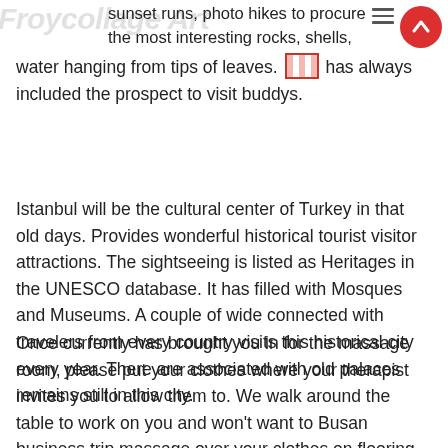Froycollage Art — sunset runs, photo hikes to procure the most interesting rocks, shells, cliffs, flowers, drops of water hanging from tips of leaves. [image] has always included the prospect to visit buddys.
Istanbul will be the cultural center of Turkey in that old days. Provides wonderful historical tourist visitor attractions. The sightseeing is listed as Heritages in the UNESCO database. It has filled with Mosques and Museums. A couple of wide connected with travelers from every country visits this historical city every year. There are associated with old palaces remains still in this city.
Once currently has brought you in for the massage room, please put your clothes where your therapist invites you to allow them to. We walk around the table to work on you and won't want to Busan business trip massage over your clothes on flooring or to help waste time moving these animals. Don't waste time folding that. Hang them up or lay them